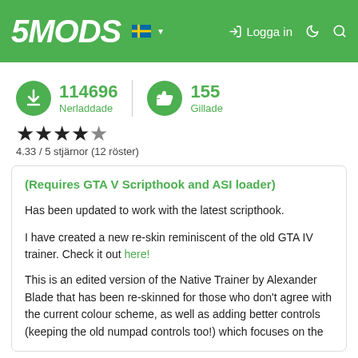5MODS | Logga in
114696 Nerladdade | 155 Gillade
4.33 / 5 stjärnor (12 röster)
(Requires GTA V Scripthook and ASI loader)
Has been updated to work with the latest scripthook.
I have created a new re-skin reminiscent of the old GTA IV trainer. Check it out here!
This is an edited version of the Native Trainer by Alexander Blade that has been re-skinned for those who don't agree with the current colour scheme, as well as adding better controls (keeping the old numpad controls too!) which focuses on the